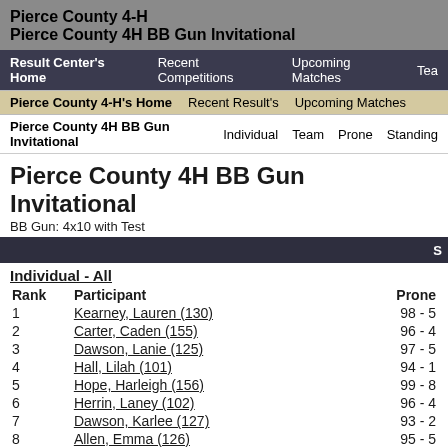Pierce County 4-H
Pierce County 4H BB Gun Invitational
Result Center's Home | Recent Competitions | Upcoming Matches | Tea...
Pierce County 4-H's Home | Recent Result's | Upcoming Matches
Pierce County 4H BB Gun Invitational | Individual | Team | Prone | Standing
Pierce County 4H BB Gun Invitational
BB Gun: 4x10 with Test
Individual - All
| Rank | Participant | Prone |
| --- | --- | --- |
| 1 | Kearney, Lauren (130) | 98 - 5 |
| 2 | Carter, Caden (155) | 96 - 4 |
| 3 | Dawson, Lanie (125) | 97 - 5 |
| 4 | Hall, Lilah (101) | 94 - 1 |
| 5 | Hope, Harleigh (156) | 99 - 8 |
| 6 | Herrin, Laney (102) | 96 - 4 |
| 7 | Dawson, Karlee (127) | 93 - 2 |
| 8 | Allen, Emma (126) | 95 - 5 |
Team - All